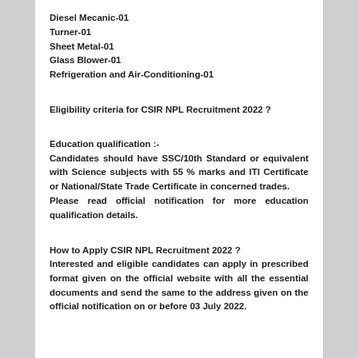Diesel Mecanic-01
Turner-01
Sheet Metal-01
Glass Blower-01
Refrigeration and Air-Conditioning-01
Eligibility criteria for CSIR NPL Recruitment 2022 ?
Education qualification :-
Candidates should have SSC/10th Standard or equivalent with Science subjects with 55 % marks and ITI Certificate or National/State Trade Certificate in concerned trades. Please read official notification for more education qualification details.
How to Apply CSIR NPL Recruitment 2022 ?
Interested and eligible candidates can apply in prescribed format given on the official website with all the essential documents and send the same to the address given on the official notification on or before 03 July 2022.